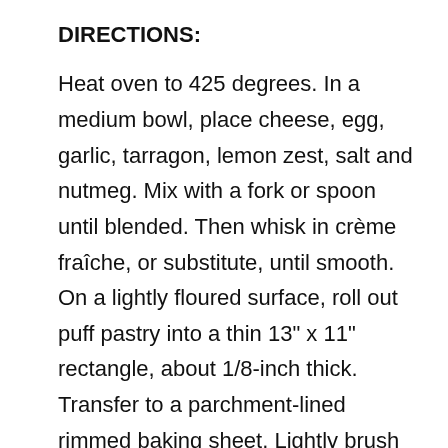DIRECTIONS:
Heat oven to 425 degrees. In a medium bowl, place cheese, egg, garlic, tarragon, lemon zest, salt and nutmeg. Mix with a fork or spoon until blended. Then whisk in crème fraîche, or substitute, until smooth. On a lightly floured surface, roll out puff pastry into a thin 13" x 11" rectangle, about 1/8-inch thick. Transfer to a parchment-lined rimmed baking sheet. Lightly brush Butter olive oil on the pastry. Spread the cheese mixture over the pastry.